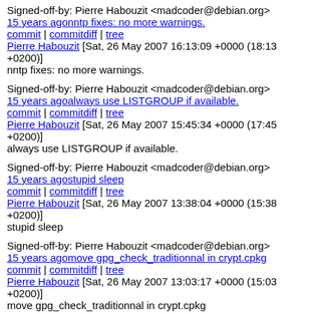Signed-off-by: Pierre Habouzit <madcoder@debian.org>
15 years ago nntp fixes: no more warnings.
commit | commitdiff | tree
Pierre Habouzit [Sat, 26 May 2007 16:13:09 +0000 (18:13 +0200)]
nntp fixes: no more warnings.
Signed-off-by: Pierre Habouzit <madcoder@debian.org>
15 years ago always use LISTGROUP if available.
commit | commitdiff | tree
Pierre Habouzit [Sat, 26 May 2007 15:45:34 +0000 (17:45 +0200)]
always use LISTGROUP if available.
Signed-off-by: Pierre Habouzit <madcoder@debian.org>
15 years ago stupid sleep
commit | commitdiff | tree
Pierre Habouzit [Sat, 26 May 2007 13:38:04 +0000 (15:38 +0200)]
stupid sleep
Signed-off-by: Pierre Habouzit <madcoder@debian.org>
15 years ago move gpg_check_traditionnal in crypt.cpkg
commit | commitdiff | tree
Pierre Habouzit [Sat, 26 May 2007 13:03:17 +0000 (15:03 +0200)]
move gpg_check_traditionnal in crypt.cpkg
Signed-off-by: Pierre Habouzit <madcoder@debian.org>